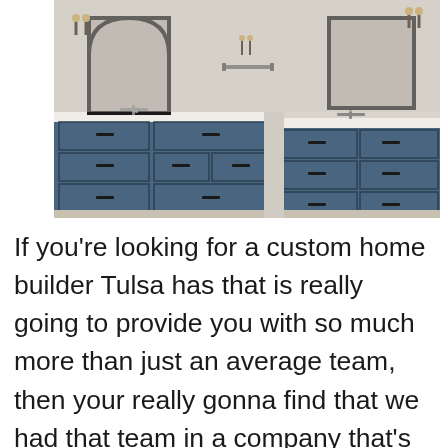[Figure (photo): Interior bathroom photo showing two navy blue vanities with white countertops, arched mirrors with black frames, wall sconce lighting, and a towel bar in the center. The cabinetry features black hardware and multiple drawers and doors.]
If you're looking for a custom home builder Tulsa has that is really going to provide you with so much more than just an average team, then your really gonna find that we had that team in a company that's willing to make sure that you're getting in contact with the right team in